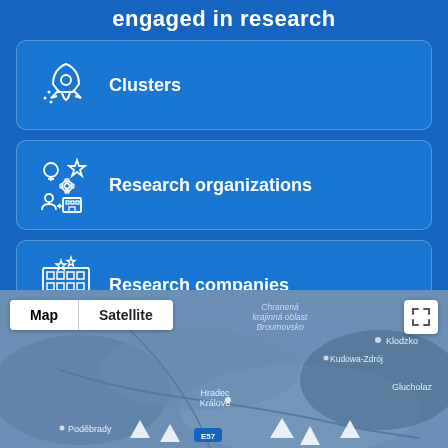engaged in research
Clusters
Research organizations
Research companies
[Figure (map): Geographic map showing Czech Republic and surrounding areas including locations: Chranená krajinná oblast Broumovsko, Klodzko, Kudowa-Zdrój, Hradec Králove, Poděbrady, Glucholaz, with Map/Satellite toggle and expand button]